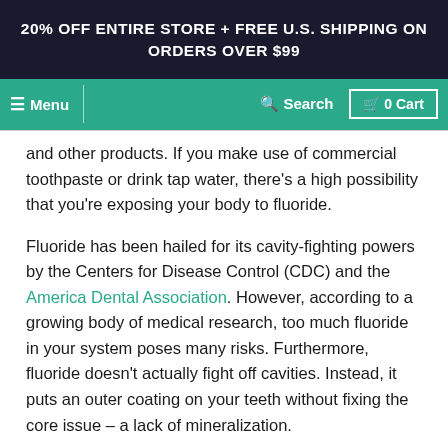20% OFF ENTIRE STORE + FREE U.S. SHIPPING ON ORDERS OVER $99
Menu | Search | 0 Cart
and other products. If you make use of commercial toothpaste or drink tap water, there's a high possibility that you're exposing your body to fluoride.
Fluoride has been hailed for its cavity-fighting powers by the Centers for Disease Control (CDC) and the America Dental Association. However, according to a growing body of medical research, too much fluoride in your system poses many risks. Furthermore, fluoride doesn't actually fight off cavities. Instead, it puts an outer coating on your teeth without fixing the core issue – a lack of mineralization.
Studies show that fluoride's negative effects include